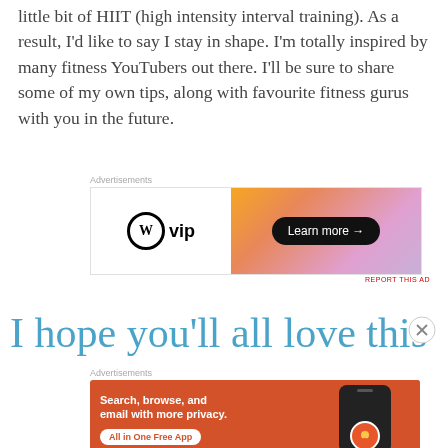little bit of HIIT (high intensity interval training). As a result, I'd like to say I stay in shape. I'm totally inspired by many fitness YouTubers out there. I'll be sure to share some of my own tips, along with favourite fitness gurus with you in the future.
[Figure (other): WordPress VIP advertisement banner with gradient orange-pink background and 'Learn more →' button]
I hope you'll all love this
[Figure (other): DuckDuckGo advertisement: 'Search, browse, and email with more privacy. All in One Free App' on orange background with phone image]